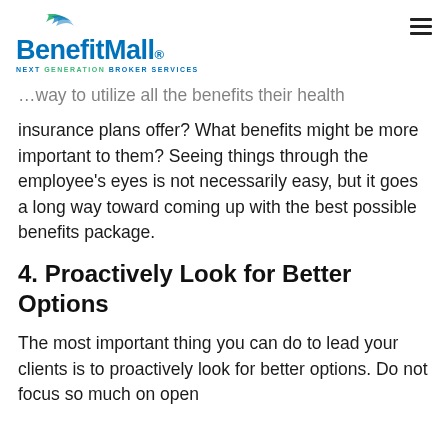BenefitMall NEXT GENERATION BROKER SERVICES
…way to utilize all the benefits their health insurance plans offer? What benefits might be more important to them? Seeing things through the employee's eyes is not necessarily easy, but it goes a long way toward coming up with the best possible benefits package.
4. Proactively Look for Better Options
The most important thing you can do to lead your clients is to proactively look for better options. Do not focus so much on open